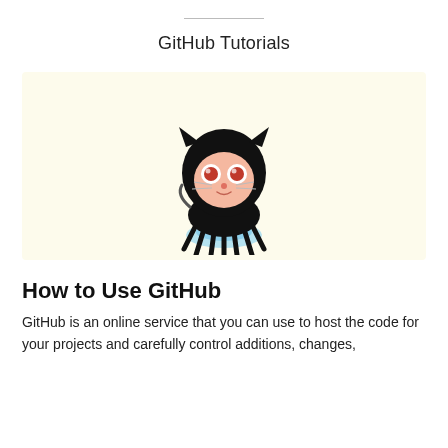GitHub Tutorials
[Figure (illustration): GitHub Octocat mascot — a cartoon cat-octopus hybrid with black helmet/head, peach face, red eyes, whiskers, black tentacle body, and a blue splash at the base, on a light yellow background.]
How to Use GitHub
GitHub is an online service that you can use to host the code for your projects and carefully control additions, changes,